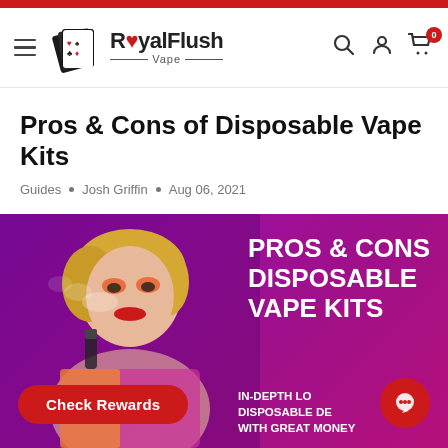RoyalFlush Vape — navigation header with hamburger menu, logo, search, account, and cart icons
Pros & Cons of Disposable Vape Kits
Guides • Josh Griffin • Aug 06, 2021
[Figure (photo): Hero banner image with purple/magenta background showing a woman vaping with colorful makeup, overlaid with bold white text reading PROS & CONS DISPOSABLE VAPE KITS and bottom text IN-DEPTH LOOK DISPOSABLE DEVICES WITH GREAT MONEY]